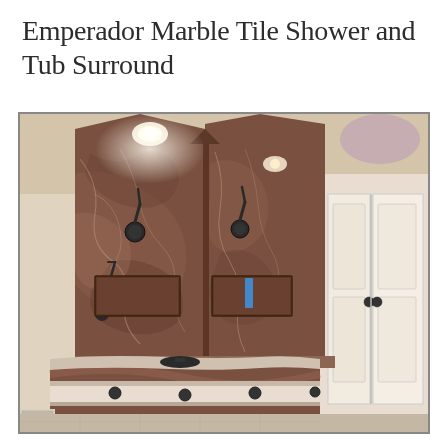Emperador Marble Tile Shower and Tub Surround
[Figure (photo): Interior bathroom photo showing an Emperador marble tile shower and tub surround. Dark brown marble tiles cover the large walk-in shower walls in a corner configuration with a V-shaped top edge. Two shower heads are mounted on the marble wall. Recessed niches are built into the marble wall. A curved jetted bathtub with marble surround is positioned in front of the shower area, featuring dark oil-rubbed bronze jets and fixtures. A white bi-fold closet door is visible on the right side. Recessed ceiling lights illuminate the space.]